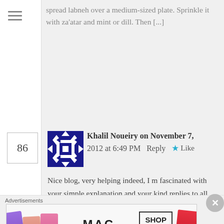spread labneh over a medium-sized plate. Sprinkle it with za'atar and mint or dill. Then [...]
86
[Figure (illustration): Blue and white geometric patterned avatar square icon]
Khalil Noueiry on November 7, 2012 at 6:49 PM   Reply  ★ Like
Nice blog, very helping indeed, I m fascinated with your simple explanation and your kind replies to all comments, impressive, I was wondering Sawsan, have you ever checked ladneh's yield from 1 kilo of yogurt? I know there are many factors that influence the result, as an example the time you leave it to drain, but have
Advertisements
[Figure (photo): MAC cosmetics advertisement banner showing colorful lipsticks with SHOP NOW button]